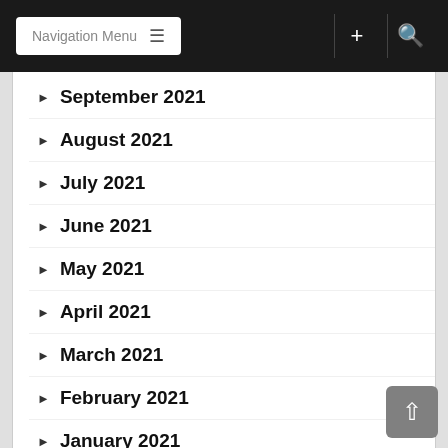Navigation Menu
September 2021
August 2021
July 2021
June 2021
May 2021
April 2021
March 2021
February 2021
January 2021
December 2020
November 2020
October 2020
September 2020